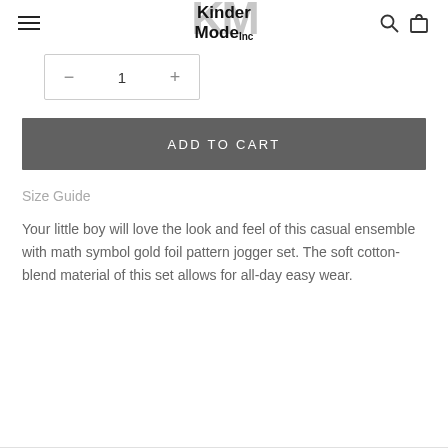KinderMode Inc [logo with navigation icons]
1 (quantity selector with minus and plus buttons)
ADD TO CART
Size Guide
Your little boy will love the look and feel of this casual ensemble with math symbol gold foil pattern jogger set. The soft cotton-blend material of this set allows for all-day easy wear.